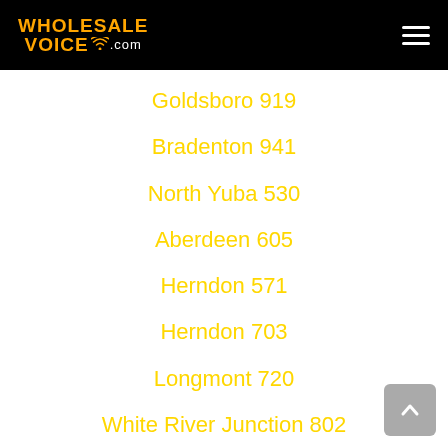WHOLESALE VOICE .com
Goldsboro 919
Bradenton 941
North Yuba 530
Aberdeen 605
Herndon 571
Herndon 703
Longmont 720
White River Junction 802